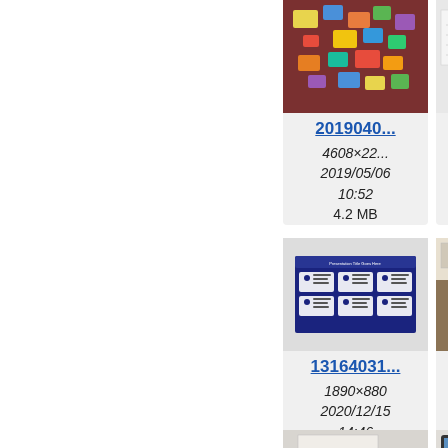[Figure (screenshot): File browser / image gallery grid showing thumbnails with filenames, dimensions, dates, and file sizes. Left half is blank white. Right side shows two columns of image cards. Top row: card with photo of colorful items on table (2019040..., 4608×22..., 2019/05/06 10:52, 4.2 MB) and partially visible card (9000..., 1920×..., 2020..., 09..., 88...). Middle row: card with blue presentation slide thumbnail (13164031..., 1890×880, 2020/12/15 14:46, 270.6 KB) and partially visible card (2019O..., 792..., 2019/..., 07..., 174...). Bottom row: two partially visible cards.]